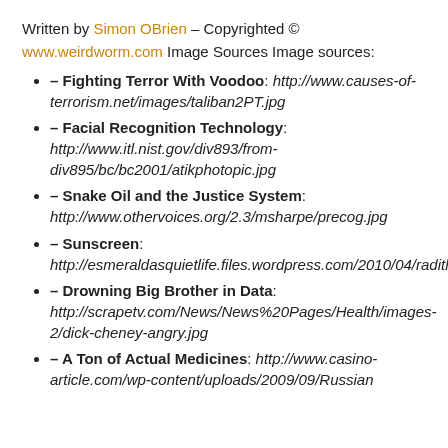Written by Simon OBrien – Copyrighted © www.weirdworm.com Image Sources Image sources:
– Fighting Terror With Voodoo: http://www.causes-of-terrorism.net/images/taliban2PT.jpg
– Facial Recognition Technology: http://www.itl.nist.gov/div893/from-div895/bc/bc2001/atikphotopic.jpg
– Snake Oil and the Justice System: http://www.othervoices.org/2.3/msharpe/precog.jpg
– Sunscreen: http://esmeraldasquietlife.files.wordpress.com/2010/04/radithor.jpg
– Drowning Big Brother in Data: http://scrapetv.com/News/News%20Pages/Health/images-2/dick-cheney-angry.jpg
– A Ton of Actual Medicines: http://www.casino-article.com/wp-content/uploads/2009/09/Russian...